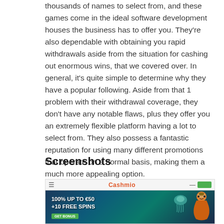thousands of names to select from, and these games come in the ideal software development houses the business has to offer you. They're also dependable with obtaining you rapid withdrawals aside from the situation for cashing out enormous wins, that we covered over. In general, it's quite simple to determine why they have a popular following. Aside from that 1 problem with their withdrawal coverage, they don't have any notable flaws, plus they offer you an extremely flexible platform having a lot to select from. They also possess a fantastic reputation for using many different promotions that operate on a normal basis, making them a much more appealing option.
Screenshots
[Figure (screenshot): Screenshot of Cashmio casino website showing a dark underwater-themed banner with the text '100% UP TO €50 +10 FREE SPINS' and a green call-to-action button, with jellyfish and a genie lamp character visible.]